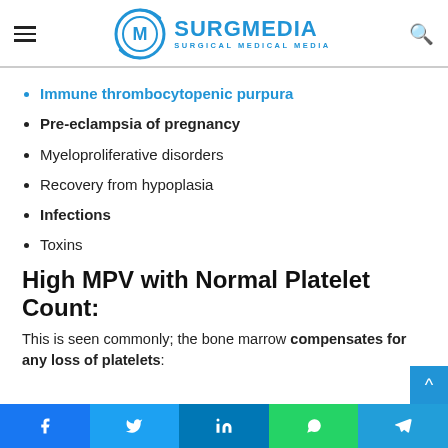SurgMedia — Surgical Medical Media
Immune thrombocytopenic purpura
Pre-eclampsia of pregnancy
Myeloproliferative disorders
Recovery from hypoplasia
Infections
Toxins
High MPV with Normal Platelet Count:
This is seen commonly; the bone marrow compensates for any loss of platelets:
Facebook | Twitter | LinkedIn | WhatsApp | Telegram